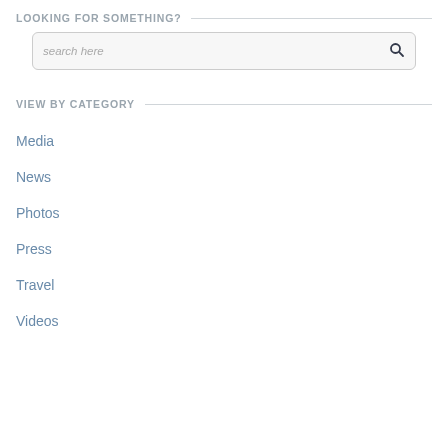LOOKING FOR SOMETHING?
search here
VIEW BY CATEGORY
Media
News
Photos
Press
Travel
Videos